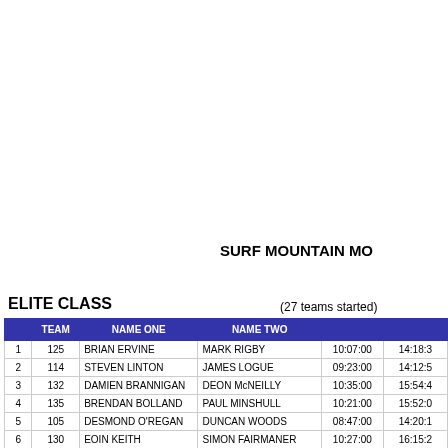SURF MOUNTAIN MO
ELITE CLASS
(27 teams started)
|  | TEAM | NAME ONE | NAME TWO |  |  |
| --- | --- | --- | --- | --- | --- |
| 1 | 125 | BRIAN ERVINE | MARK RIGBY | 10:07:00 | 14:18:3 |
| 2 | 114 | STEVEN LINTON | JAMES LOGUE | 09:23:00 | 14:12:5 |
| 3 | 132 | DAMIEN BRANNIGAN | DEON McNEILLY | 10:35:00 | 15:54:4 |
| 4 | 135 | BRENDAN BOLLAND | PAUL MINSHULL | 10:21:00 | 15:52:0 |
| 5 | 105 | DESMOND O'REGAN | DUNCAN WOODS | 08:47:00 | 14:20:1 |
| 6 | 130 | EOIN KEITH | SIMON FAIRMANER | 10:27:00 | 16:15:2 |
| 7 | 122 | JONATHAN WHITAKER | HELENE DIAMANTIDES | 09:55:00 | 15:43:5 |
| 8 | 118 | RICHARD TOWNSEND | RICHARD HILL | 09:39:00 | 15:48:3 |
| 9 | 128 | TIMO TEINILA | RENE VOCK | 10:19:00 | 16:11:2 |
| 10 | 115 | JOAN FLANAGAN | PETER OWENS | 09:27:00 | 15:46:5 |